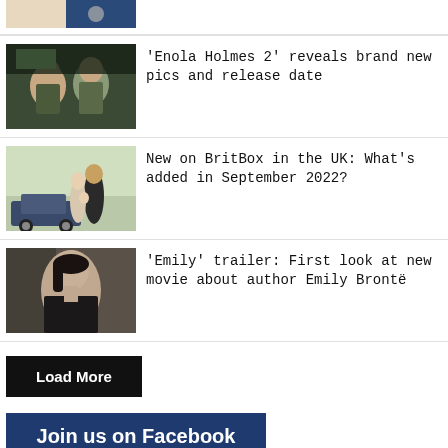[Figure (photo): Partial top image of a scene, cropped at top of page]
[Figure (photo): Two children looking forward in a dark setting - Enola Holmes 2]
'Enola Holmes 2' reveals brand new pics and release date
[Figure (photo): A woman and man with a child standing by a vintage car - BritBox]
New on BritBox in the UK: What’s added in September 2022?
[Figure (photo): A dark-haired woman looking sideways - Emily Brontë movie]
‘Emily’ trailer: First look at new movie about author Emily Brontė
Load More
Join us on Facebook